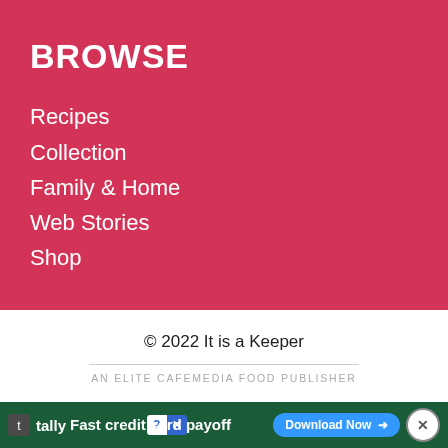BROWSE
Recipes
Collection
Family & Home
Web Stories
Shop
© 2022 It is a Keeper
AN ELITE CAFEMEDIA FOOD PUBLISHER
[Figure (screenshot): Tally advertisement banner: green background with Tally logo, 'Fast credit card payoff' text, Download Now button, help and close controls, and an X dismiss button on the right]